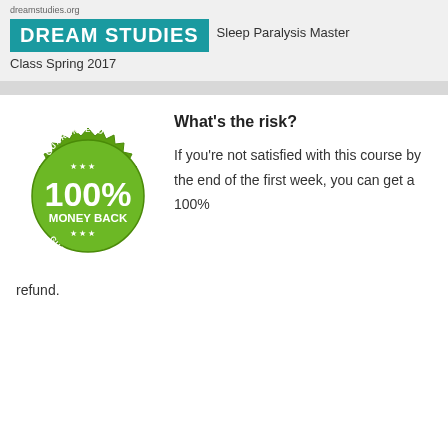dreamstudies.org
DREAM STUDIES  Sleep Paralysis Master Class Spring 2017
[Figure (illustration): Green 100% Money Back Guarantee badge/seal with star decorations and text GUARANTEED, 100%, MONEY BACK, GUARANTEED around the seal]
What's the risk?
If you're not satisfied with this course by the end of the first week, you can get a 100% refund.